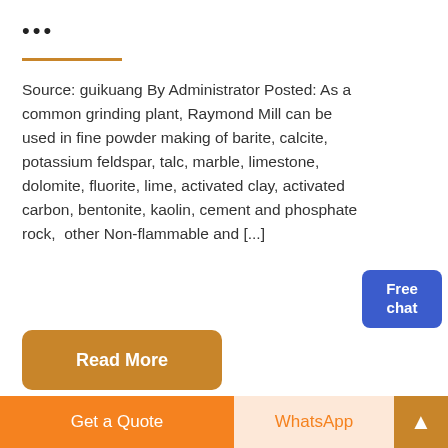•••
Source: guikuang By Administrator Posted: As a common grinding plant, Raymond Mill can be used in fine powder making of barite, calcite, potassium feldspar, talc, marble, limestone, dolomite, fluorite, lime, activated clay, activated carbon, bentonite, kaolin, cement and phosphate rock, and other Non-flammable and [...]
[Figure (other): Free chat badge (blue rounded rectangle with text 'Free chat')]
Read More
[Figure (photo): Two industrial facility photos side by side: left shows industrial piping/equipment, right shows a conveyor belt structure against blue sky]
Get a Quote | WhatsApp | ▲